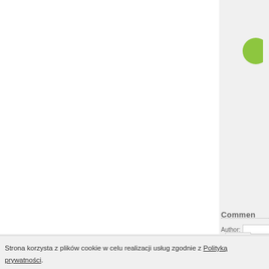[Figure (logo): Green circular logo partially visible in top-right sidebar area]
Comment
Author:
[Figure (screenshot): Author input text field (empty)]
[Figure (screenshot): Choose file button]
HELP
Terms & Condition
Privacy
Strona korzysta z plików cookie w celu realizacji usług zgodnie z Polityką prywatności.
Możesz określić warunki przechowywania lub dostępu do cookie w Twojej przeglądarce lub k